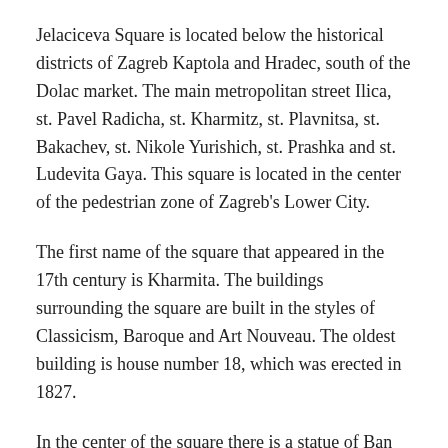Jelaciceva Square is located below the historical districts of Zagreb Kaptola and Hradec, south of the Dolac market. The main metropolitan street Ilica, st. Pavel Radicha, st. Kharmitz, st. Plavnitsa, st. Bakachev, st. Nikole Yurishich, st. Prashka and st. Ludevita Gaya. This square is located in the center of the pedestrian zone of Zagreb's Lower City.
The first name of the square that appeared in the 17th century is Kharmita. The buildings surrounding the square are built in the styles of Classicism, Baroque and Art Nouveau. The oldest building is house number 18, which was erected in 1827.
In the center of the square there is a statue of Ban Jelacic on a horse, which was installed on 19.10.1866.